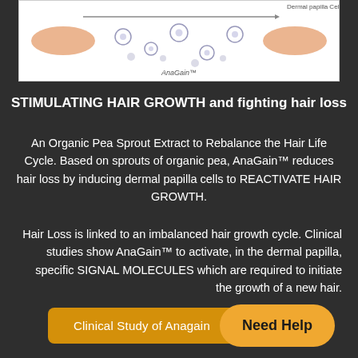[Figure (illustration): Scientific illustration of AnaGain™ showing dermal papilla cells and hair follicle diagram with label 'AnaGain™' at bottom and 'Dermal papilla Cells' label on right side.]
STIMULATING HAIR GROWTH and fighting hair loss
An Organic Pea Sprout Extract to Rebalance the Hair Life Cycle. Based on sprouts of organic pea, AnaGain™ reduces hair loss by inducing dermal papilla cells to REACTIVATE HAIR GROWTH.
Hair Loss is linked to an imbalanced hair growth cycle. Clinical studies show AnaGain™ to activate, in the dermal papilla, specific SIGNAL MOLECULES which are required to initiate the growth of a new hair.
Clinical Study of Anagain
Need Help